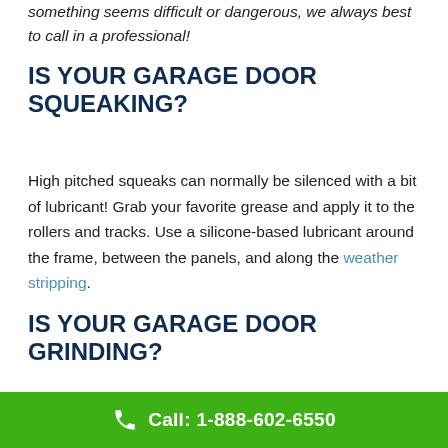something seems difficult or dangerous, we always best to call in a professional!
IS YOUR GARAGE DOOR SQUEAKING?
High pitched squeaks can normally be silenced with a bit of lubricant! Grab your favorite grease and apply it to the rollers and tracks. Use a silicone-based lubricant around the frame, between the panels, and along the weather stripping.
IS YOUR GARAGE DOOR GRINDING?
Once again, this could be a lubrication issue or point to worn out rollers. First, try applying lubricant. If the
Call: 1-888-602-6550